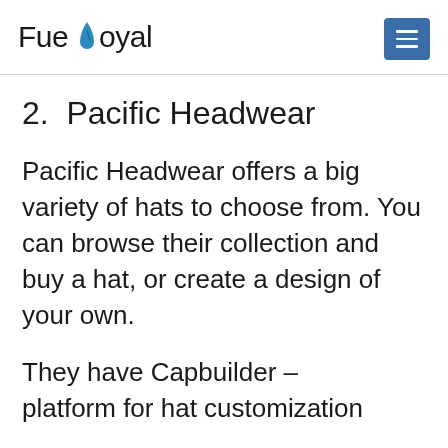FueLoyaL
2. Pacific Headwear
Pacific Headwear offers a big variety of hats to choose from. You can browse their collection and buy a hat, or create a design of your own.
They have Capbuilder – platform for hat customization